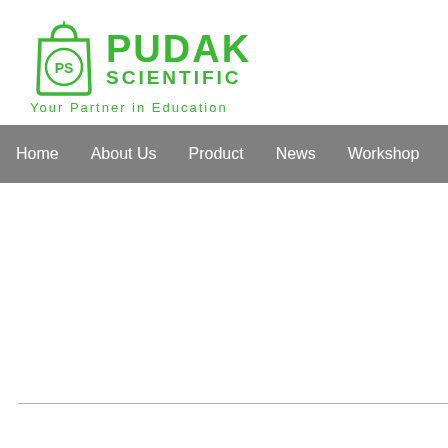[Figure (logo): Pudak Scientific logo with green shopping bag icon containing 'PS' text, bold green 'PUDAK' text, 'SCIENTIFIC' text below, and tagline 'Your Partner in Education']
Home   About Us   Product   News   Workshop   Events